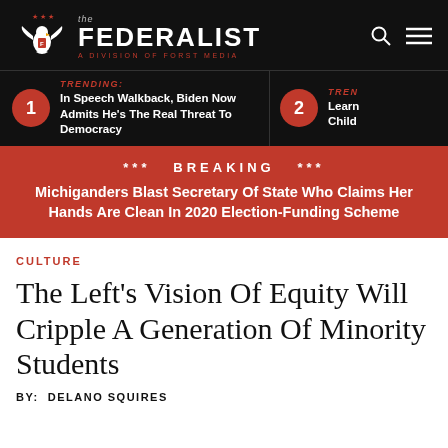the FEDERALIST A DIVISION OF FORST MEDIA
TRENDING: In Speech Walkback, Biden Now Admits He's The Real Threat To Democracy
TRENDING: Learn... Child...
*** BREAKING *** Michiganders Blast Secretary Of State Who Claims Her Hands Are Clean In 2020 Election-Funding Scheme
CULTURE
The Left's Vision Of Equity Will Cripple A Generation Of Minority Students
BY: DELANO SQUIRES